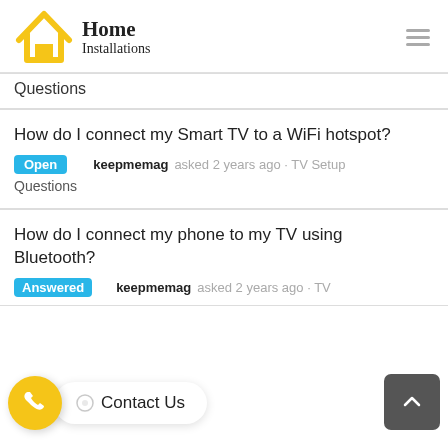Home Installations
Questions
How do I connect my Smart TV to a WiFi hotspot?
Open   keepmemag asked 2 years ago · TV Setup Questions
How do I connect my phone to my TV using Bluetooth?
Answered   keepmemag asked 2 years ago · TV
Contact Us